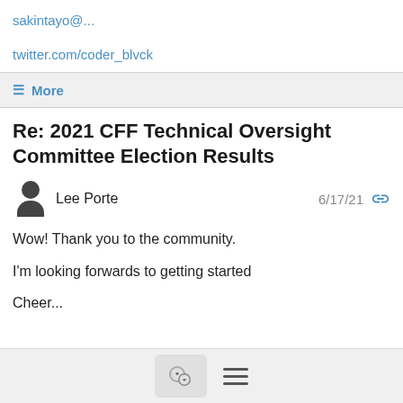sakintayo@...
twitter.com/coder_blvck
≡ More
Re: 2021 CFF Technical Oversight Committee Election Results
Lee Porte  6/17/21
Wow! Thank you to the community.
I'm looking forwards to getting started
Cheer...